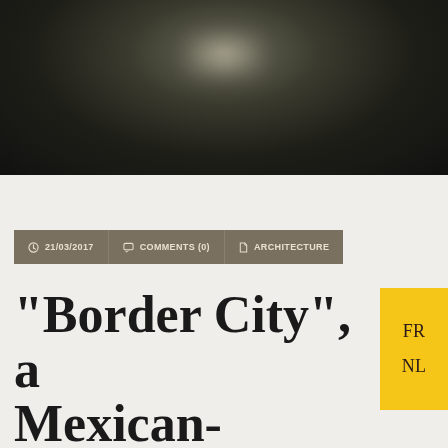[Figure (photo): Dark blurred indoor photograph with a faint light glow in the upper center area, dark brown and black tones throughout]
21/03/2017   COMMENTS (0)   ARCHITECTURE
“Border City”, a Mexican-